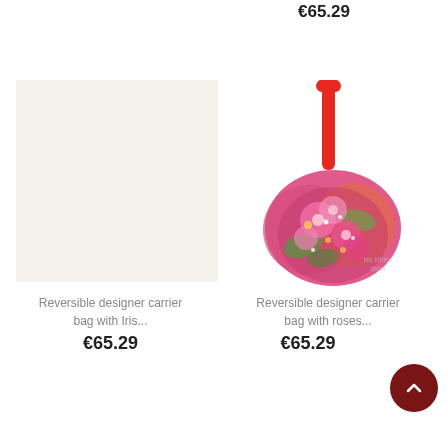€65.29
[Figure (photo): Left product card: blank/empty light beige square image placeholder for a reversible designer carrier bag with Iris pattern]
Reversible designer carrier bag with Iris...
€65.29
[Figure (photo): Right product card: floral reversible designer carrier bag with roses, featuring a red strap and colorful pink/green floral fabric, with 'les inities store' watermark]
Reversible designer carrier bag with roses...
€65.29